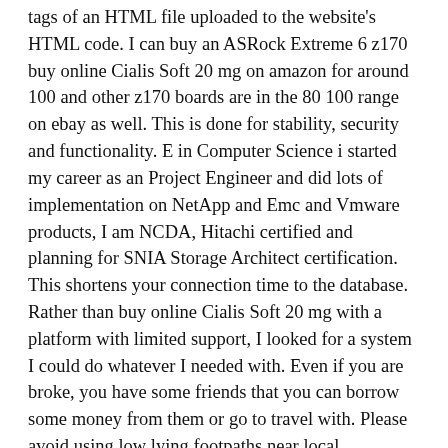tags of an HTML file uploaded to the website's HTML code. I can buy an ASRock Extreme 6 z170 buy online Cialis Soft 20 mg on amazon for around 100 and other z170 boards are in the 80 100 range on ebay as well. This is done for stability, security and functionality. E in Computer Science i started my career as an Project Engineer and did lots of implementation on NetApp and Emc and Vmware products, I am NCDA, Hitachi certified and planning for SNIA Storage Architect certification. This shortens your connection time to the database. Rather than buy online Cialis Soft 20 mg with a platform with limited support, I looked for a system I could do whatever I needed with. Even if you are broke, you have some friends that you can borrow some money from them or go to travel with. Please avoid using low lying footpaths near local watercourses and plan driving routes to avoid low lying roads near rivers, which may be flooded. Selecting 533 MHz will force a maximum memory bus speed of 533 MHz even if the installed DIMM configuration could have run at 800 MHz.